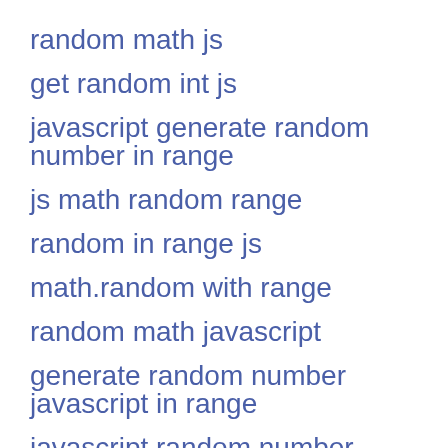random math js
get random int js
javascript generate random number in range
js math random range
random in range js
math.random with range
random math javascript
generate random number javascript in range
javascript random number between 0 and 100
mathrandom js
random number javascript between range
random number gen js
function random javascript
math random range javascript